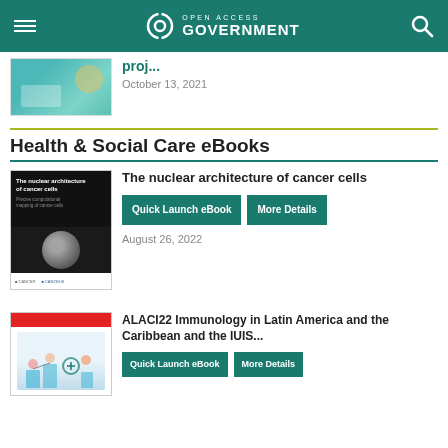Open Access Government
[Figure (photo): Thumbnail photo of a person at a laptop on a teal/blue background]
October 13, 2021
Health & Social Care eBooks
[Figure (photo): eBook cover: The nuclear architecture of cancer cells - dark background with cell microscopy images]
The nuclear architecture of cancer cells
Quick Launch eBook
More Details
August 26, 2022
[Figure (photo): eBook cover: ALACI22 Immunology in Latin America and the Caribbean - red header with medical illustration]
ALACI22 Immunology in Latin America and the Caribbean and the IUIS...